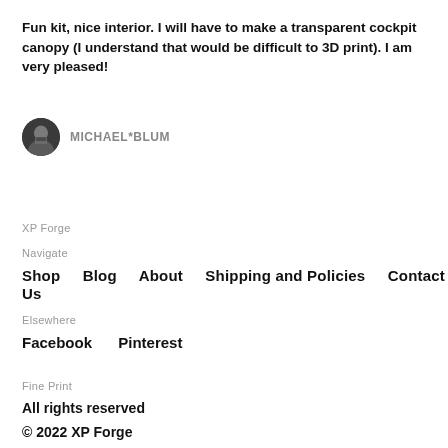Fun kit, nice interior. I will have to make a transparent cockpit canopy (I understand that would be difficult to 3D print). I am very pleased!
MICHAEL*BLUM
XP Forge
Navigate
Shop
Blog
About
Shipping and Policies
Contact Us
Elsewhere
Facebook
Pinterest
Fine Print
All rights reserved
© 2022 XP Forge
Powered by Etsy